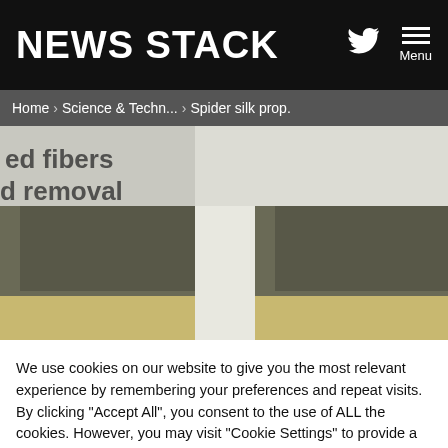NEWS STACK
Home › Science & Techn... › Spider silk prop.
[Figure (photo): Close-up blurred scientific image showing fabric or material samples with label text reading 'ed fibers', 'd removal', and '(c) Film' — two fabric swatches side by side, dark gray/olive colored textile corners against light background]
We use cookies on our website to give you the most relevant experience by remembering your preferences and repeat visits. By clicking "Accept All", you consent to the use of ALL the cookies. However, you may visit "Cookie Settings" to provide a controlled consent.
Cookie Settings
Accept All